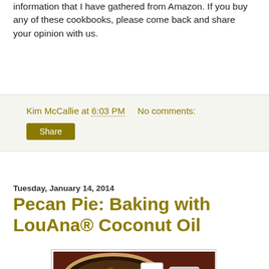information that I have gathered from Amazon. If you buy any of these cookbooks, please come back and share your opinion with us.
Kim McCallie at 6:03 PM   No comments:
Share
Tuesday, January 14, 2014
Pecan Pie: Baking with LouAna® Coconut Oil
[Figure (photo): Photo of a pecan pie with a slice on a plate, a glass of milk, and a jar of LouAna coconut oil on a dark red background with a gold napkin]